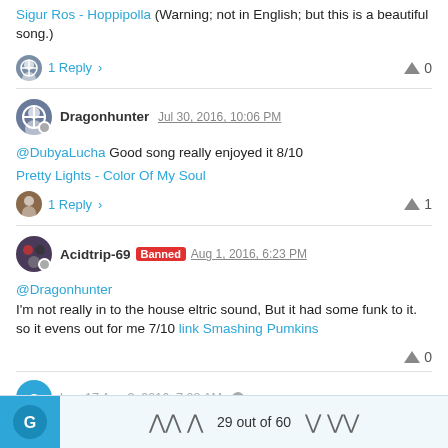Sigur Ros - Hoppipolla (Warning; not in English; but this is a beautiful song.)
1 Reply
0
Dragonhunter Jul 30, 2016, 10:06 PM
@DubyaLucha Good song really enjoyed it 8/10
Pretty Lights - Color Of My Soul
1 Reply
1
Acidtrip-69 Banned Aug 1, 2016, 6:23 PM
@Dragonhunter
I'm not really in to the house eltric sound, But it had some funk to it. so it evens out for me 7/10 link Smashing Pumkins
0
29 out of 60